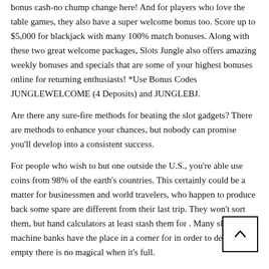bonus cash-no chump change here! And for players who love the table games, they also have a super welcome bonus too. Score up to $5,000 for blackjack with many 100% match bonuses. Along with these two great welcome packages, Slots Jungle also offers amazing weekly bonuses and specials that are some of your highest bonuses online for returning enthusiasts! *Use Bonus Codes JUNGLEWELCOME (4 Deposits) and JUNGLEBJ.
Are there any sure-fire methods for beating the slot gadgets? There are methods to enhance your chances, but nobody can promise you'll develop into a consistent success.
For people who wish to but one outside the U.S., you're able use coins from 98% of the earth's countries. This certainly could be a matter for businessmen and world travelers, who happen to produce back some spare are different from their last trip. They won't sort them, but hand calculators at least stash them for . Many slot machine banks have the place in a corner for in order to definitely empty there is no magical when it's full.